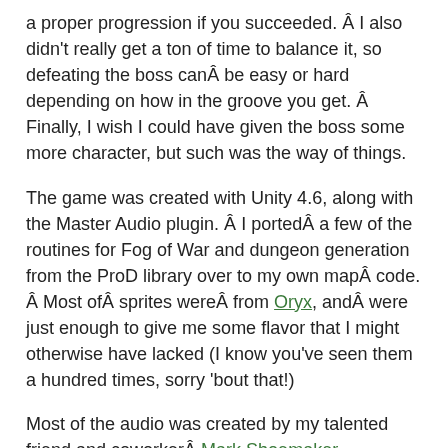a proper progression if you succeeded. Â I also didn't really get a ton of time to balance it, so defeating the boss canÂ be easy or hard depending on how in the groove you get. Â Finally, I wish I could have given the boss some more character, but such was the way of things.
The game was created with Unity 4.6, along with the Master Audio plugin. Â I portedÂ a few of the routines for Fog of War and dungeon generation from the ProD library over to my own mapÂ code. Â Most ofÂ sprites wereÂ from Oryx, andÂ were just enough to give me some flavor that I might otherwise have lacked (I know you've seen them a hundred times, sorry 'bout that!)
Most of the audio was created by my talented friend and coworkerÂ Mark Shoemaker.
Goals